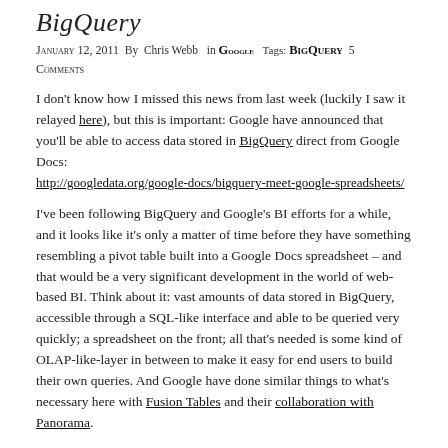BigQuery
January 12, 2011  By  Chris Webb  in Google  Tags: BigQuery  5 Comments
I don't know how I missed this news from last week (luckily I saw it relayed here), but this is important: Google have announced that you'll be able to access data stored in BigQuery direct from Google Docs: http://googledata.org/google-docs/bigquery-meet-google-spreadsheets/
I've been following BigQuery and Google's BI efforts for a while, and it looks like it's only a matter of time before they have something resembling a pivot table built into a Google Docs spreadsheet – and that would be a very significant development in the world of web-based BI. Think about it: vast amounts of data stored in BigQuery, accessible through a SQL-like interface and able to be queried very quickly; a spreadsheet on the front; all that's needed is some kind of OLAP-like-layer in between to make it easy for end users to build their own queries. And Google have done similar things to what's necessary here with Fusion Tables and their collaboration with Panorama.
Microsoft really need an answer to this. We know SSAS in the cloud is coming, and we have the Excel web app, but again we need pivot table